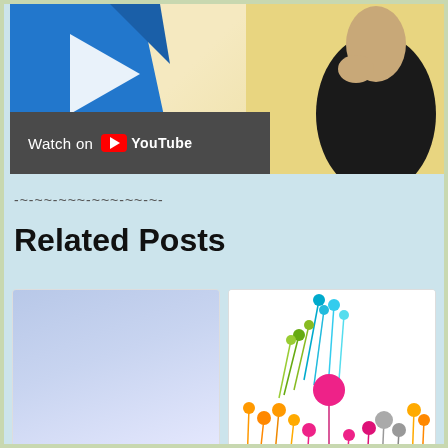[Figure (screenshot): YouTube video thumbnail showing a blue graphic shape on left and a person in dark clothing on right, with a 'Watch on YouTube' bar overlay at bottom left]
-~-~~-~~~-~~~-~~-~-
Related Posts
[Figure (photo): Blue-to-white gradient rectangle, thumbnail for blog post about driving traffic using free methods]
How to drive traffic to your website using free
[Figure (illustration): Decorative illustration of colorful lollipop/flower stems with circles on white background]
How to Drive Traffic Via Instagram to Shopify,